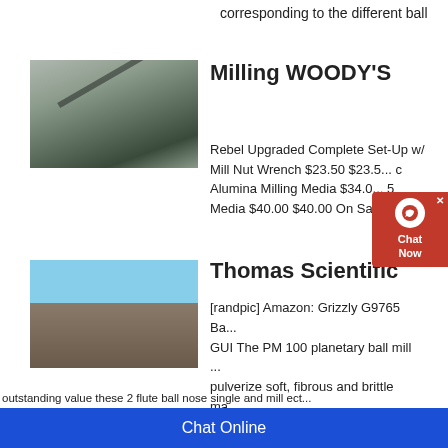corresponding to the different ball
[Figure (photo): Industrial conveyor belt machinery]
Milling WOODY'S
Rebel Upgraded Complete Set-Up w/ Mill Nut Wrench $23.50 $23.50 ... Alumina Milling Media $34.00 ...5 Media $40.00 $40.00 On Sale S...
[Figure (photo): Industrial crushing/screening machine]
Thomas Scientific
[randpic] Amazon: Grizzly G9765 Ba... GUI The PM 100 planetary ball mill ... pulverize soft, fibrous and brittle ma... high centrifugal forces resulting in e... than in other planetary ball mills. It h...
outstanding value these 2 flute ball nose single end mill ect...
Chat Online